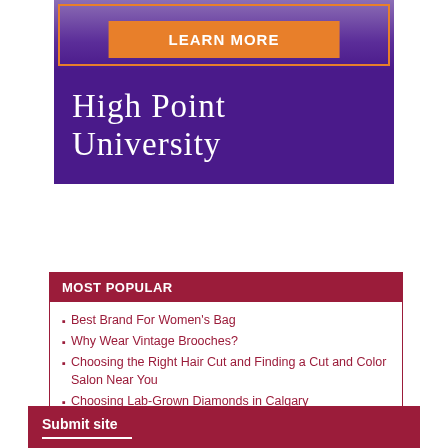[Figure (photo): Purple background university advertisement with orange Learn More button and decorative orange corner border]
High Point University
MOST POPULAR
Best Brand For Women's Bag
Why Wear Vintage Brooches?
Choosing the Right Hair Cut and Finding a Cut and Color Salon Near You
Choosing Lab-Grown Diamonds in Calgary
4 Types of Engagement Ring Settings
Why we can't get enough of unisex jewellery
5 Watches Worth Investing In Today
Submit site